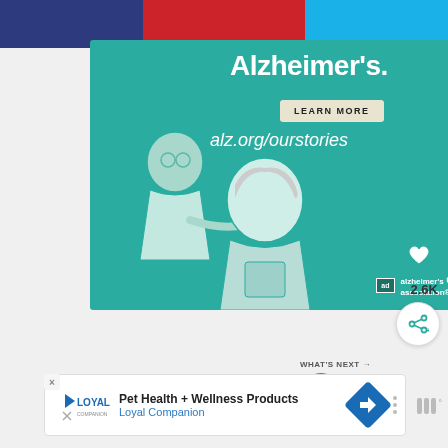[Figure (screenshot): Top navigation bar with three colored segments: dark blue, red, and light blue]
[Figure (illustration): Alzheimer's Association advertisement banner with teal background. Shows illustrated figures of elderly man and woman. Text reads 'Alzheimer's.' with LEARN MORE button and alz.org/ourstories URL. Alzheimer's Association logo at bottom right.]
[Figure (infographic): Heart/like button in teal circle]
2.6K
[Figure (infographic): Share button icon]
WHAT'S NEXT
Skinny Sangria
[Figure (photo): Food thumbnail showing fruits for Skinny Sangria recipe]
[Figure (infographic): Bottom advertisement for Pet Health + Wellness Products by Loyal Companion with navigation arrow icon]